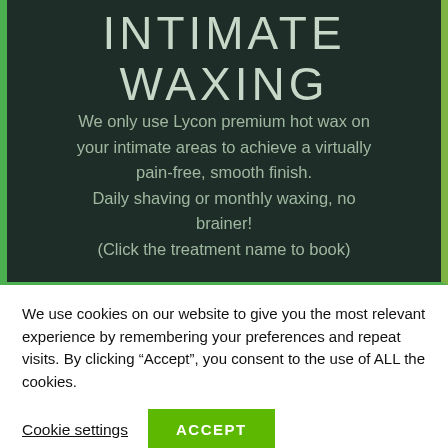INTIMATE WAXING
We only use Lycon premium hot wax on your intimate areas to achieve a virtually pain-free, smooth finish.
Daily shaving or monthly waxing, no brainer!
(Click the treatment name to book)
We use cookies on our website to give you the most relevant experience by remembering your preferences and repeat visits. By clicking “Accept”, you consent to the use of ALL the cookies.
Cookie settings   ACCEPT